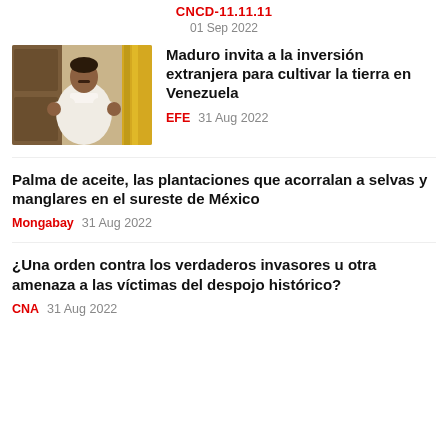CNCD-11.11.11
01 Sep 2022
[Figure (photo): Man in white shirt speaking with hands raised, background with wooden door and yellow curtain]
Maduro invita a la inversión extranjera para cultivar la tierra en Venezuela
EFE   31 Aug 2022
Palma de aceite, las plantaciones que acorralan a selvas y manglares en el sureste de México
Mongabay   31 Aug 2022
¿Una orden contra los verdaderos invasores u otra amenaza a las víctimas del despojo histórico?
CNA   31 Aug 2022